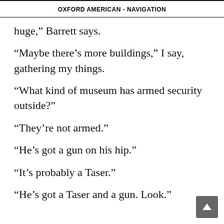OXFORD AMERICAN - NAVIGATION
huge,” Barrett says.
“Maybe there’s more buildings,” I say, gathering my things.
“What kind of museum has armed security outside?”
“They’re not armed.”
“He’s got a gun on his hip.”
“It’s probably a Taser.”
“He’s got a Taser and a gun. Look.”